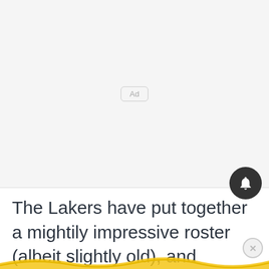[Figure (other): Advertisement placeholder area — light gray background with a small 'Ad' label in a rounded rectangle in the center]
The Lakers have put together a mightily impressive roster (albeit slightly old), and